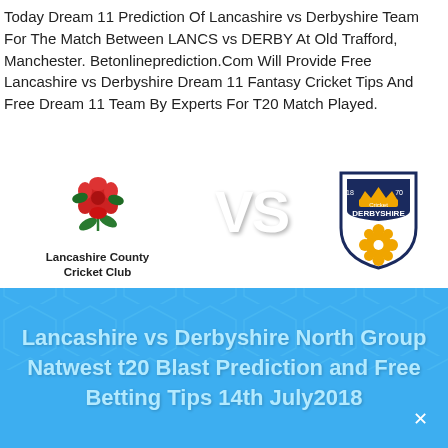Today Dream 11 Prediction Of Lancashire vs Derbyshire Team For The Match Between LANCS vs DERBY At Old Trafford, Manchester. Betonlineprediction.Com Will Provide Free Lancashire vs Derbyshire Dream 11 Fantasy Cricket Tips And Free Dream 11 Team By Experts For T20 Match Played.
[Figure (illustration): Lancashire vs Derbyshire cricket match graphic with Lancashire County Cricket Club rose logo on left, Derbyshire Cricket shield logo on right, VS text in center on blue hexagon background, and caption text below reading 'Lancashire vs Derbyshire North Group Natwest t20 Blast Prediction and Free Betting Tips 14th July2018']
Lancashire vs Derbyshire North Group Natwest t20 Blast Prediction and Free Betting Tips 14th July2018